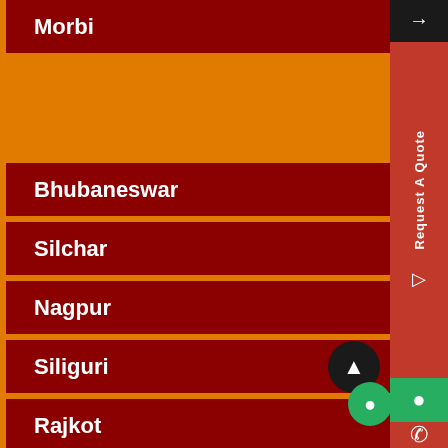Morbi
Bhubaneswar
Silchar
Nagpur
Siliguri
Rajkot
Jodhpur
Noida
Gorakhpur